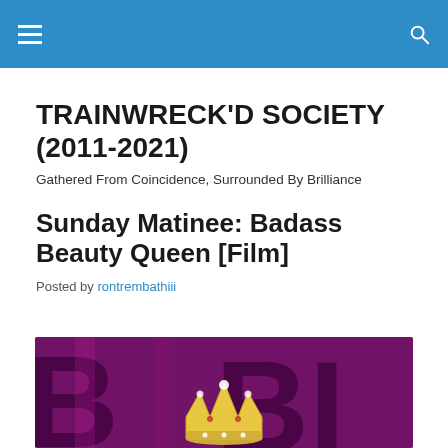TRAINWRECK'D SOCIETY (2011-2021) — site header bar with hamburger menu and search icon
TRAINWRECK'D SOCIETY (2011-2021)
Gathered From Coincidence, Surrounded By Brilliance
Sunday Matinee: Badass Beauty Queen [Film]
Posted by rontrembathiii
[Figure (photo): Cropped movie poster image showing a beauty queen crown against a purple/magenta background with large dark text/letters visible behind it.]